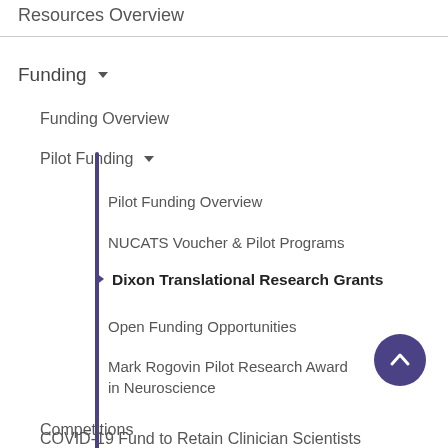Resources Overview
Funding ▾
Funding Overview
Pilot Funding ▾
Pilot Funding Overview
NUCATS Voucher & Pilot Programs
▶ Dixon Translational Research Grants
Open Funding Opportunities
Mark Rogovin Pilot Research Award in Neuroscience
Competitions
COVID-19 Fund to Retain Clinician Scientists